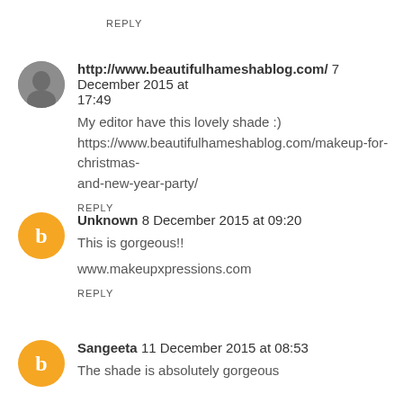REPLY
http://www.beautifulhameshablog.com/ 7 December 2015 at 17:49
My editor have this lovely shade :) https://www.beautifulhameshablog.com/makeup-for-christmas-and-new-year-party/
REPLY
Unknown 8 December 2015 at 09:20
This is gorgeous!!
www.makeupxpressions.com
REPLY
Sangeeta 11 December 2015 at 08:53
The shade is absolutely gorgeous